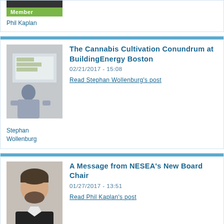[Figure (photo): Partial photo of person with Member badge overlay (top card, clipped)]
Phil Kaplan
[Figure (photo): Photo of Stephan Wollenburg presenting at a conference with a screen in background]
The Cannabis Cultivation Conundrum at BuildingEnergy Boston
02/21/2017 - 15:08
Read Stephan Wollenburg's post
Stephan Wollenburg
[Figure (photo): Photo of Phil Kaplan smiling, wearing black sweater with Member badge overlay]
A Message from NESEA's New Board Chair
01/27/2017 - 13:51
Read Phil Kaplan's post
Phil Kaplan